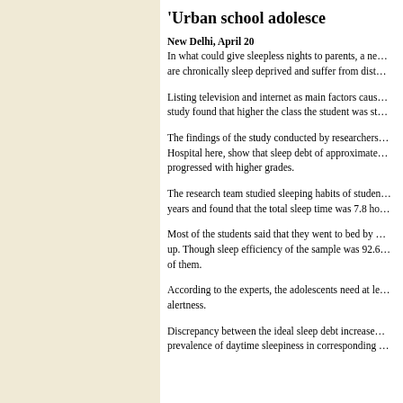'Urban school adolescents are chronically sleep deprived'
New Delhi, April 20
In what could give sleepless nights to parents, a new study says urban school adolescents are chronically sleep deprived and suffer from distracting daytime sleepiness.
Listing television and internet as main factors causing late nights among adolescents, the study found that higher the class the student was studying in, greater the sleep debt.
The findings of the study conducted by researchers from the Sleep Lab at Sir Ganga Ram Hospital here, show that sleep debt of approximately 2 hours per night on school nights progressed with higher grades.
The research team studied sleeping habits of students between the ages of 13 and 17 years and found that the total sleep time was 7.8 hours on weekends and holidays.
Most of the students said that they went to bed by midnight and woke up. Though sleep efficiency of the sample was 92.6%, daytime sleepiness was seen in 40% of them.
According to the experts, the adolescents need at least 9-10 hours of sleep for daytime alertness.
Discrepancy between the ideal sleep debt increased with grade, as did the prevalence of daytime sleepiness in corresponding grades.